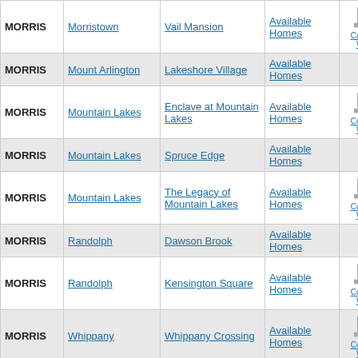| County | City | Community | Availability | Website |
| --- | --- | --- | --- | --- |
| MORRIS | Morristown | Vail Mansion | Available Homes | Community Website |
| MORRIS | Mount Arlington | Lakeshore Village | Available Homes |  |
| MORRIS | Mountain Lakes | Enclave at Mountain Lakes | Available Homes | Community Website |
| MORRIS | Mountain Lakes | Spruce Edge | Available Homes |  |
| MORRIS | Mountain Lakes | The Legacy of Mountain Lakes | Available Homes | Community Website |
| MORRIS | Randolph | Dawson Brook | Available Homes |  |
| MORRIS | Randolph | Kensington Square | Available Homes | Community Website |
| MORRIS | Whippany | Whippany Crossing | Available Homes | Community Website |
| UNION | New Providence | Foley Square | Available Homes |  |
| UNION | New Providence | The Villas | Available Homes |  |
|  |  | 14 Euclid at | Available... |  |